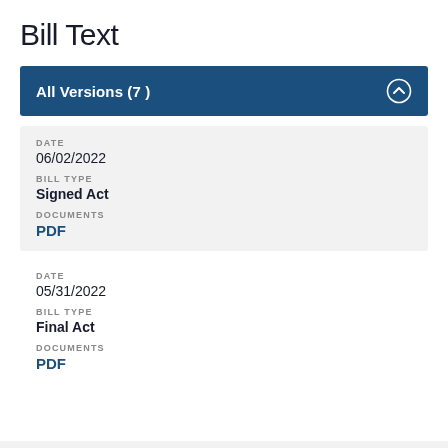Bill Text
All Versions (7)
DATE
06/02/2022
BILL TYPE
Signed Act
DOCUMENTS
PDF
DATE
05/31/2022
BILL TYPE
Final Act
DOCUMENTS
PDF